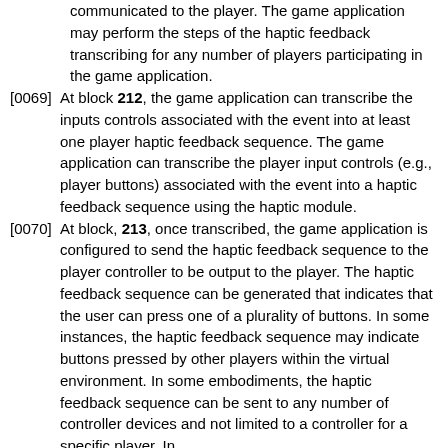communicated to the player. The game application may perform the steps of the haptic feedback transcribing for any number of players participating in the game application.
[0069] At block 212, the game application can transcribe the inputs controls associated with the event into at least one player haptic feedback sequence. The game application can transcribe the player input controls (e.g., player buttons) associated with the event into a haptic feedback sequence using the haptic module.
[0070] At block, 213, once transcribed, the game application is configured to send the haptic feedback sequence to the player controller to be output to the player. The haptic feedback sequence can be generated that indicates that the user can press one of a plurality of buttons. In some instances, the haptic feedback sequence may indicate buttons pressed by other players within the virtual environment. In some embodiments, the haptic feedback sequence can be sent to any number of controller devices and not limited to a controller for a specific player. In